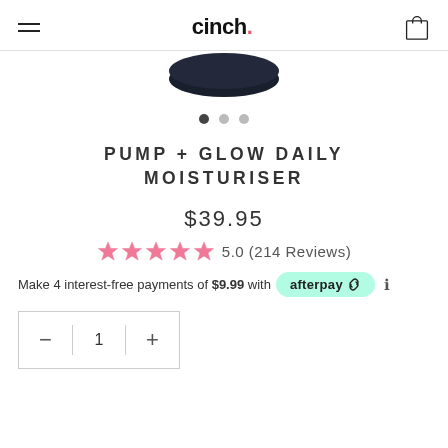cinch.
[Figure (photo): Partial view of a skincare product (dark circular lid/jar) from above, cropped at top of image area]
PUMP + GLOW DAILY MOISTURISER
$39.95
5.0 (214 Reviews)
Make 4 interest-free payments of $9.99 with afterpay
[Figure (infographic): Quantity selector box with minus, 1, and plus controls]